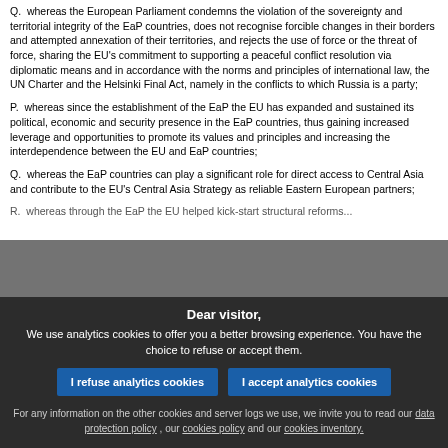Q.  whereas the European Parliament condemns the violation of the sovereignty and territorial integrity of the EaP countries, does not recognise forcible changes in their borders and attempted annexation of their territories, and rejects the use of force or the threat of force, sharing the EU's commitment to supporting a peaceful conflict resolution via diplomatic means and in accordance with the norms and principles of international law, the UN Charter and the Helsinki Final Act, namely in the conflicts to which Russia is a party;
P.  whereas since the establishment of the EaP the EU has expanded and sustained its political, economic and security presence in the EaP countries, thus gaining increased leverage and opportunities to promote its values and principles and increasing the interdependence between the EU and EaP countries;
Q.  whereas the EaP countries can play a significant role for direct access to Central Asia and contribute to the EU's Central Asia Strategy as reliable Eastern European partners;
R.  whereas through the EaP the EU helped kick-start structural reforms...
Dear visitor,
We use analytics cookies to offer you a better browsing experience. You have the choice to refuse or accept them.

For any information on the other cookies and server logs we use, we invite you to read our data protection policy , our cookies policy and our cookies inventory.